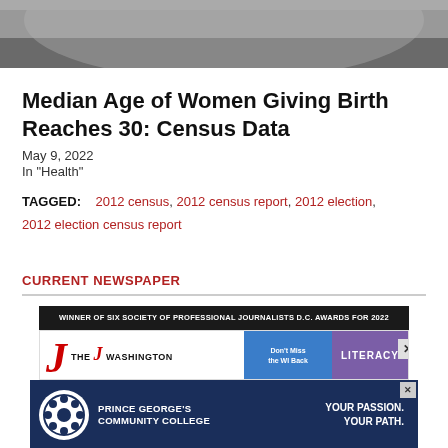[Figure (photo): Cropped close-up photo of a pregnant woman's belly, gray/dark tones]
Median Age of Women Giving Birth Reaches 30: Census Data
May 9, 2022
In "Health"
TAGGED: 2012 census, 2012 census report, 2012 election, 2012 election census report
CURRENT NEWSPAPER
[Figure (screenshot): Newspaper website screenshot showing The Washington Informer logo with WINNER OF SIX SOCIETY OF PROFESSIONAL JOURNALISTS D.C. AWARDS FOR 2022 banner, and a Don't Miss the WI Back and LITERACY promotional panels]
[Figure (photo): Advertisement for Prince George's Community College with logo, nurse photo, and tagline YOUR PASSION. YOUR PATH.]